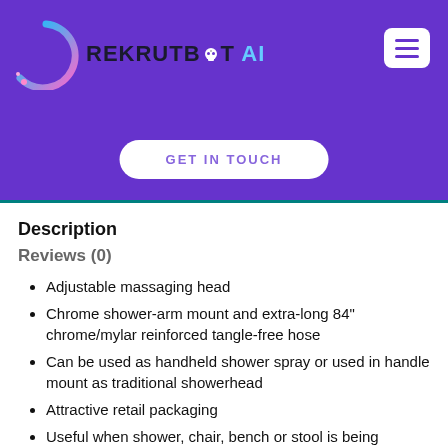[Figure (logo): RekrutBot AI logo with circular gradient icon and text]
GET IN TOUCH
Description
Reviews (0)
Adjustable massaging head
Chrome shower-arm mount and extra-long 84" chrome/mylar reinforced tangle-free hose
Can be used as handheld shower spray or used in handle mount as traditional showerhead
Attractive retail packaging
Useful when shower, chair, bench or stool is being